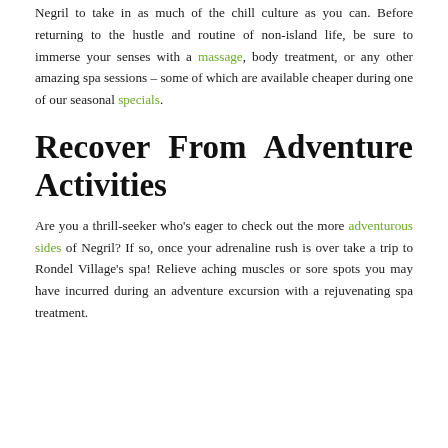Negril to take in as much of the chill culture as you can. Before returning to the hustle and routine of non-island life, be sure to immerse your senses with a massage, body treatment, or any other amazing spa sessions – some of which are available cheaper during one of our seasonal specials.
Recover From Adventure Activities
Are you a thrill-seeker who's eager to check out the more adventurous sides of Negril? If so, once your adrenaline rush is over take a trip to Rondel Village's spa! Relieve aching muscles or sore spots you may have incurred during an adventure excursion with a rejuvenating spa treatment.